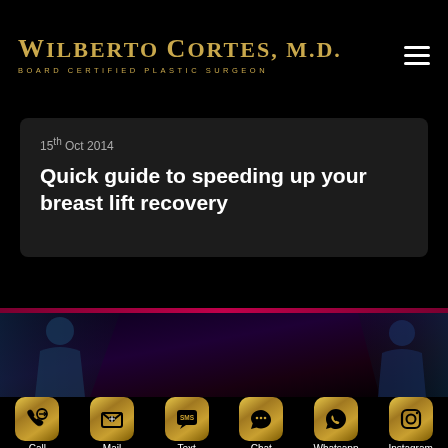WILBERTO CORTES, M.D. — BOARD CERTIFIED PLASTIC SURGEON
15th Oct 2014
Quick guide to speeding up your breast lift recovery
[Figure (illustration): Footer banner with dark purple/maroon background and human silhouette figures on left and right sides]
Call | Mail | Text | Chat | Whatsapp | Instagram